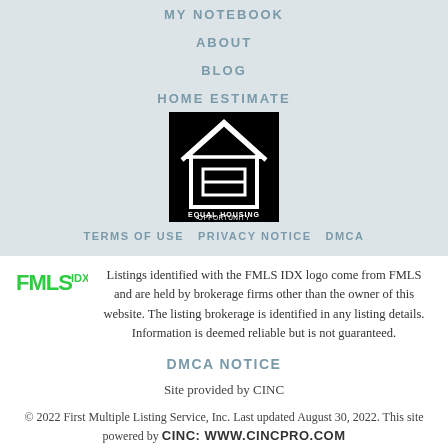MY NOTEBOOK
ABOUT
BLOG
HOME ESTIMATE
[Figure (logo): Equal Housing Opportunity logo — white house icon with equal sign on black background]
TERMS OF USE    PRIVACY NOTICE    DMCA
Listings identified with the FMLS IDX logo come from FMLS and are held by brokerage firms other than the owner of this website. The listing brokerage is identified in any listing details. Information is deemed reliable but is not guaranteed.
DMCA NOTICE
Site provided by CINC
© 2022 First Multiple Listing Service, Inc. Last updated August 30, 2022. This site powered by CINC: WWW.CINCPRO.COM